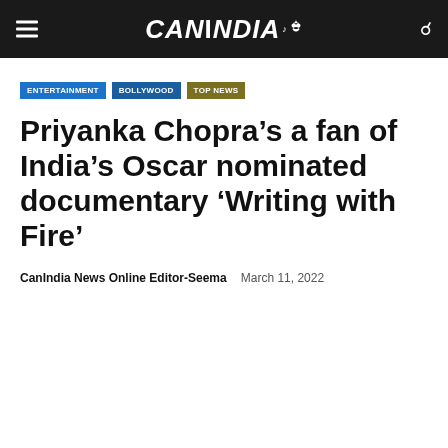CANINDIA
ENTERTAINMENT
BOLLYWOOD
TOP NEWS
Priyanka Chopra’s a fan of India’s Oscar nominated documentary ‘Writing with Fire’
CanIndia News Online Editor-Seema   March 11, 2022